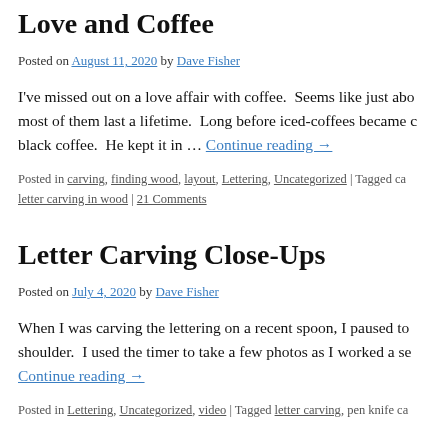Love and Coffee
Posted on August 11, 2020 by Dave Fisher
I've missed out on a love affair with coffee.  Seems like just abo most of them last a lifetime.  Long before iced-coffees became c black coffee.  He kept it in … Continue reading →
Posted in carving, finding wood, layout, Lettering, Uncategorized | Tagged ca letter carving in wood | 21 Comments
Letter Carving Close-Ups
Posted on July 4, 2020 by Dave Fisher
When I was carving the lettering on a recent spoon, I paused to shoulder.  I used the timer to take a few photos as I worked a se Continue reading →
Posted in Lettering, Uncategorized, video | Tagged letter carving, pen knife ca
Short letter carving Vide…